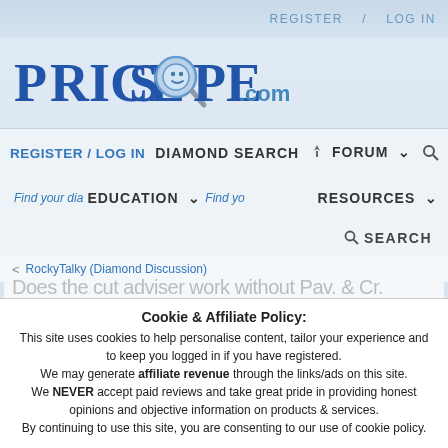REGISTER / LOG IN
[Figure (logo): PriceScope.com logo with magnifying glass icon over the letter O]
REGISTER / LOG IN   DIAMOND SEARCH   FORUM
Find your dia... EDUCATION  Find yo... RESOURCES
SEARCH
< RockyTalky (Diamond Discussion)
Does the cut adviser work without Pav. & Cr. angles?
Cookie & Affiliate Policy:
This site uses cookies to help personalise content, tailor your experience and to keep you logged in if you have registered.
We may generate affiliate revenue through the links/ads on this site.
We NEVER accept paid reviews and take great pride in providing honest opinions and objective information on products & services.
By continuing to use this site, you are consenting to our use of cookie policy.
✓ Accept   Learn more...